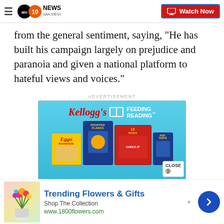ABC 10News San Diego | Watch Now
from the general sentiment, saying, "He has built his campaign largely on prejudice and paranoia and given a national platform to hateful views and voices."
ADVERTISEMENT
[Figure (photo): Kellogg's Feeding Reading advertisement featuring Frosted Flakes, Cheez-It, Eggo, and Pop-Tarts products on a blue background]
[Figure (photo): Trending Flowers & Gifts advertisement banner with flower bouquet image, text 'Shop The Collection', and URL www.1800flowers.com]